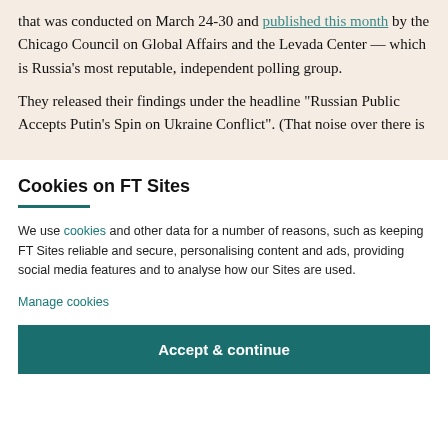that was conducted on March 24-30 and published this month by the Chicago Council on Global Affairs and the Levada Center — which is Russia's most reputable, independent polling group.
They released their findings under the headline "Russian Public Accepts Putin's Spin on Ukraine Conflict". (That noise over there is...
Cookies on FT Sites
We use cookies and other data for a number of reasons, such as keeping FT Sites reliable and secure, personalising content and ads, providing social media features and to analyse how our Sites are used.
Manage cookies
Accept & continue